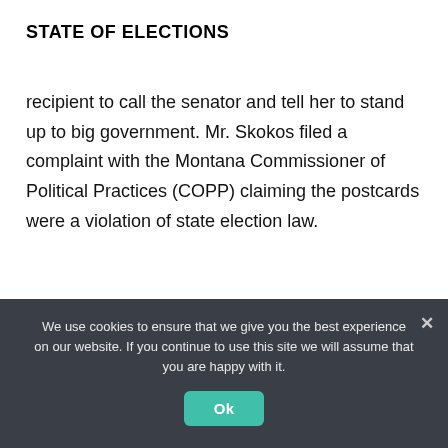STATE OF ELECTIONS
recipient to call the senator and tell her to stand up to big government. Mr. Skokos filed a complaint with the Montana Commissioner of Political Practices (COPP) claiming the postcards were a violation of state election law.
[Figure (other): Black button/link reading [READ MORE...]]
We use cookies to ensure that we give you the best experience on our website. If you continue to use this site we will assume that you are happy with it.